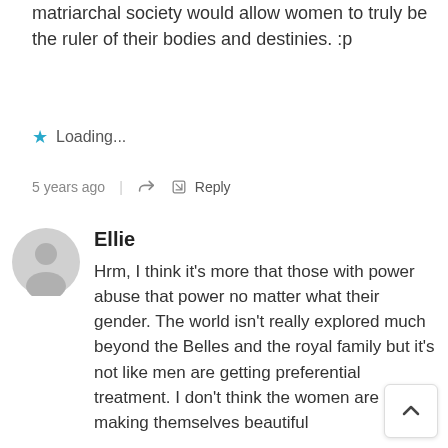matriarchal society would allow women to truly be the ruler of their bodies and destinies. :p
Loading...
5 years ago   |   Reply
Ellie
Hrm, I think it's more that those with power abuse that power no matter what their gender. The world isn't really explored much beyond the Belles and the royal family but it's not like men are getting preferential treatment. I don't think the women are making themselves beautiful